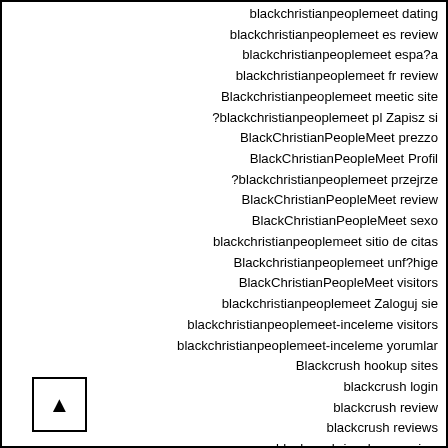blackchristianpeoplemeet dating
blackchristianpeoplemeet es review
blackchristianpeoplemeet espa?a
blackchristianpeoplemeet fr review
Blackchristianpeoplemeet meetic site
?blackchristianpeoplemeet pl Zapisz si
BlackChristianPeopleMeet prezzo
BlackChristianPeopleMeet Profil
?blackchristianpeoplemeet przejrze
BlackChristianPeopleMeet review
BlackChristianPeopleMeet sexo
blackchristianpeoplemeet sitio de citas
Blackchristianpeoplemeet unf?hige
BlackChristianPeopleMeet visitors
blackchristianpeoplemeet Zaloguj sie
blackchristianpeoplemeet-inceleme visitors
blackchristianpeoplemeet-inceleme yorumlar
Blackcrush hookup sites
blackcrush login
blackcrush review
blackcrush reviews
blackcrush-inceleme review
blackcupid app
blackcupid code de r?duction
blackcupid com pl kod promocyjny
blackcupid dating
blackcupid dating site